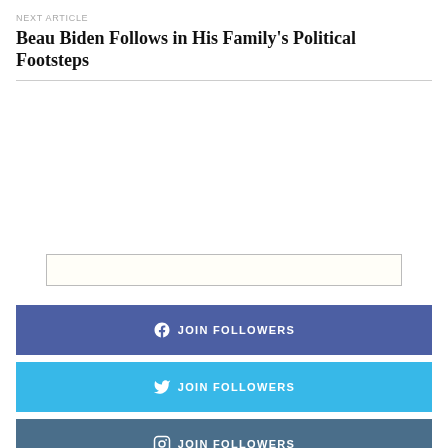NEXT ARTICLE
Beau Biden Follows in His Family's Political Footsteps
[Figure (other): Empty search input box with light border]
JOIN FOLLOWERS (Facebook)
JOIN FOLLOWERS (Twitter)
JOIN FOLLOWERS (Instagram)